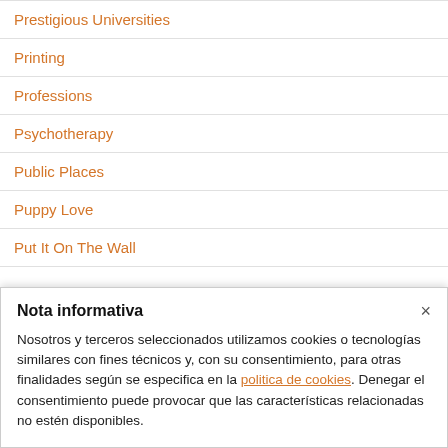Prestigious Universities
Printing
Professions
Psychotherapy
Public Places
Puppy Love
Put It On The Wall
Nota informativa
Nosotros y terceros seleccionados utilizamos cookies o tecnologías similares con fines técnicos y, con su consentimiento, para otras finalidades según se especifica en la politica de cookies. Denegar el consentimiento puede provocar que las características relacionadas no estén disponibles.